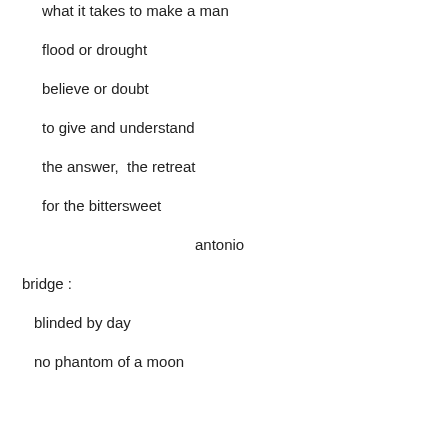what it takes to make a man
flood or drought
believe or doubt
to give and understand
the answer,  the retreat
for the bittersweet
antonio
bridge :
blinded by day
no phantom of a moon